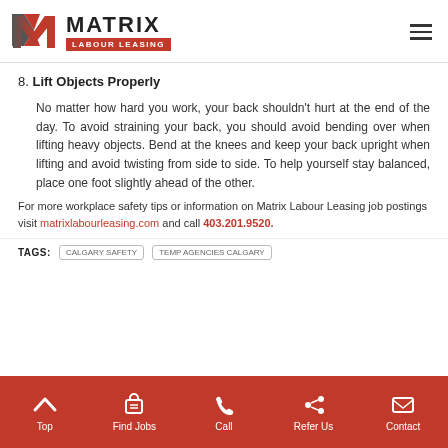Matrix Labour Leasing logo and navigation
8. Lift Objects Properly
No matter how hard you work, your back shouldn't hurt at the end of the day. To avoid straining your back, you should avoid bending over when lifting heavy objects. Bend at the knees and keep your back upright when lifting and avoid twisting from side to side. To help yourself stay balanced, place one foot slightly ahead of the other.
For more workplace safety tips or information on Matrix Labour Leasing job postings visit matrixlabourleasing.com and call 403.201.9520.
TAGS: CALGARY SAFETY   TEMP AGENCIES CALGARY
Top | Find Jobs | Call | Refer Us | Contact